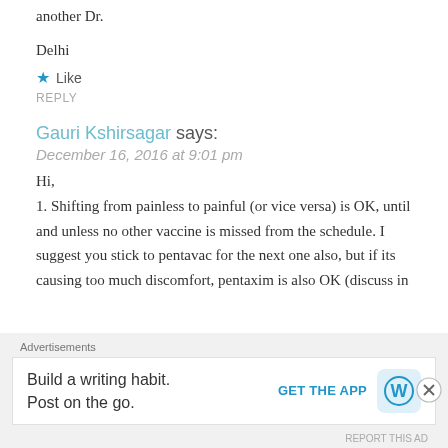another Dr.
Delhi
★ Like
REPLY
Gauri Kshirsagar says:
December 16, 2016 at 9:01 pm
Hi,

1. Shifting from painless to painful (or vice versa) is OK, until and unless no other vaccine is missed from the schedule. I suggest you stick to pentavac for the next one also, but if its causing too much discomfort, pentaxim is also OK (discuss in
Advertisements
Build a writing habit. Post on the go.
GET THE APP